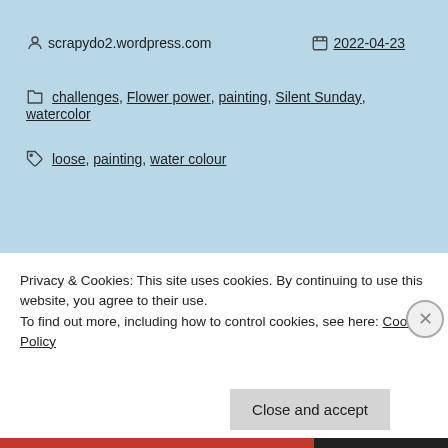scrapydo2.wordpress.com   2022-04-23
challenges, Flower power, painting, Silent Sunday, watercolor
loose, painting, water colour
Silent Sunday:
Privacy & Cookies: This site uses cookies. By continuing to use this website, you agree to their use.
To find out more, including how to control cookies, see here: Cookie Policy
Close and accept